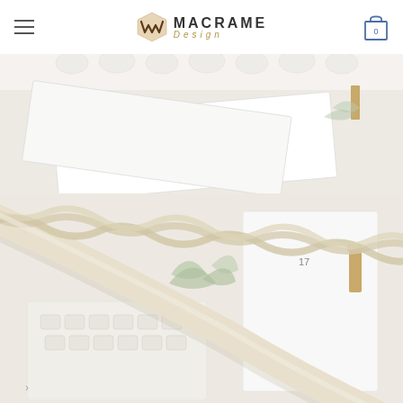[Figure (screenshot): Website header with hamburger menu icon on left, Macrame Design logo in center (W-shaped icon with text MACRAME Design), and shopping cart icon with 0 badge on right, on white background]
[Figure (photo): Top product photo showing white stationery/cards arranged on a light surface with some greenery, taken from above at an angle]
[Figure (photo): Bottom product photo showing a thick braided cream/white macrame cord arranged diagonally across a light surface with plant leaves, keyboard and notebook visible in background]